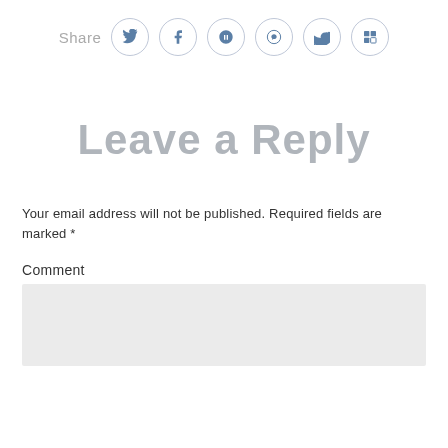[Figure (other): Share bar with social media icons: Twitter, Facebook, StumbleUpon, Reddit, Tumblr, and one more icon]
Leave a Reply
Your email address will not be published. Required fields are marked *
Comment